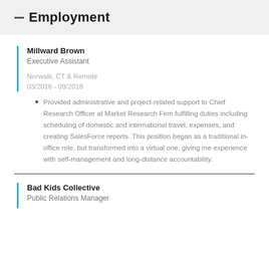Employment
Millward Brown
Executive Assistant
Norwalk, CT & Remote
03/2016 - 09/2018
Provided administrative and project-related support to Chief Research Officer at Market Research Firm fulfilling duties including scheduling of domestic and international travel, expenses, and creating SalesForce reports. This position began as a traditional in-office role, but transformed into a virtual one, giving me experience with self-management and long-distance accountability.
Bad Kids Collective
Public Relations Manager